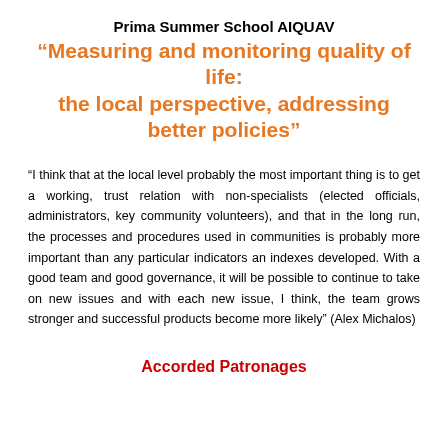Prima Summer School AIQUAV
“Measuring and monitoring quality of life: the local perspective, addressing better policies”
“I think that at the local level probably the most important thing is to get a working, trust relation with non-specialists (elected officials, administrators, key community volunteers), and that in the long run, the processes and procedures used in communities is probably more important than any particular indicators an indexes developed. With a good team and good governance, it will be possible to continue to take on new issues and with each new issue, I think, the team grows stronger and successful products become more likely” (Alex Michalos)
Accorded Patronages